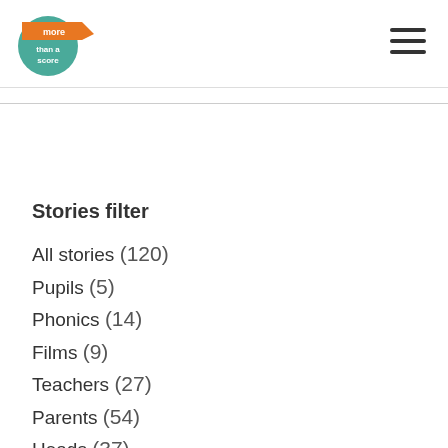[Figure (logo): More Than A Score logo - teal circle with orange banner and white text]
Stories filter
All stories (120)
Pupils (5)
Phonics (14)
Films (9)
Teachers (27)
Parents (54)
Heads (37)
SATs (52)